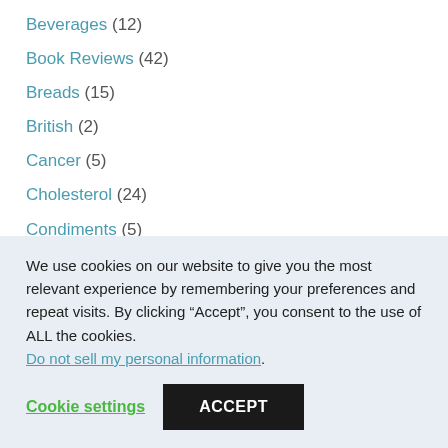Beverages (12)
Book Reviews (42)
Breads (15)
British (2)
Cancer (5)
Cholesterol (24)
Condiments (5)
Cruise (9)
Cuban (3)
Dairy (50)
We use cookies on our website to give you the most relevant experience by remembering your preferences and repeat visits. By clicking “Accept”, you consent to the use of ALL the cookies. Do not sell my personal information.
Cookie settings
ACCEPT